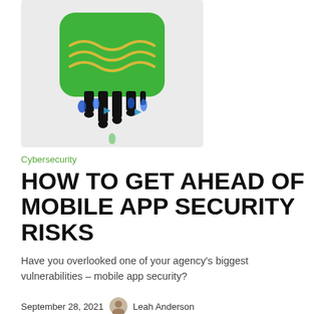[Figure (illustration): A stylized illustration showing a green rounded rectangle (app icon) with yellow wavy lines on top, and black dripping streaks with blue data-drop shapes falling from the bottom, resembling a data leak or security breach visual on a light gray background.]
Cybersecurity
HOW TO GET AHEAD OF MOBILE APP SECURITY RISKS
Have you overlooked one of your agency’s biggest vulnerabilities – mobile app security?
September 28, 2021   Leah Anderson